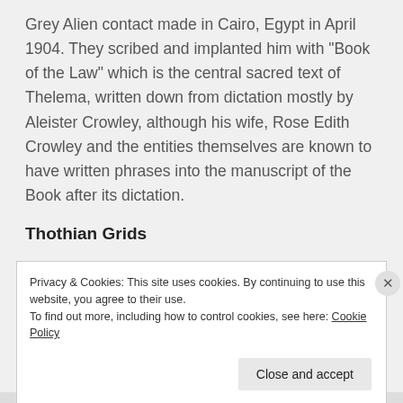Grey Alien contact made in Cairo, Egypt in April 1904. They scribed and implanted him with “Book of the Law” which is the central sacred text of Thelema, written down from dictation mostly by Aleister Crowley, although his wife, Rose Edith Crowley and the entities themselves are known to have written phrases into the manuscript of the Book after its dictation.
Thothian Grids
Privacy & Cookies: This site uses cookies. By continuing to use this website, you agree to their use.
To find out more, including how to control cookies, see here: Cookie Policy